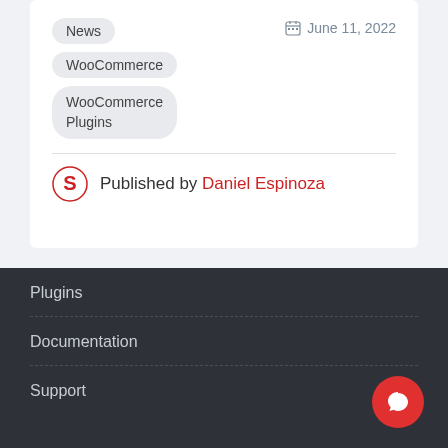News
June 11, 2022
WooCommerce
WooCommerce Plugins
Published by Daniel Espinoza
Plugins
Documentation
Support